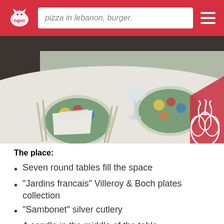pizza in lebanon, burger.
[Figure (photo): Restaurant table setting with colorful plates, white napkin folded on plate, silverware, wine glass, and a logo of garlic/herb illustration in bottom right corner]
The place:
Seven round tables fill the space
"Jardins francais" Villeroy & Boch plates collection
"Sambonet" silver cutlery
A candle in the middle of the table
A big chandelier in the middle of the room
Beautiful mosaic marble floor
Burgundy chairs